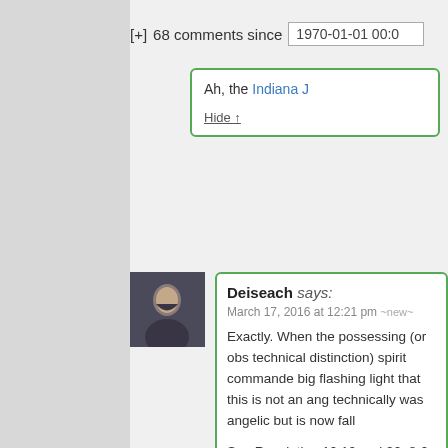[+] 68 comments since 1970-01-01 00:0
Ah, the Indiana J…
Hide ↑
Deiseach says: March 17, 2016 at 12:21 pm ~new~
Exactly. When the possessing (or obs technical distinction) spirit commande big flashing light that this is not an ang technically was angelic but is now fall
See Revelation 19:10 and 22: 8-9 whe with one of the seven angels which ha pour out the seven plagues:
10 And I fell at his feet to wor said unto me, See thou do it n